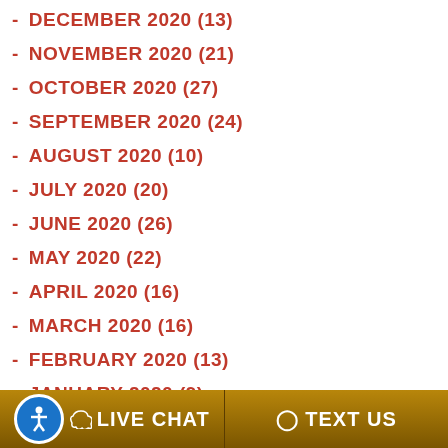- DECEMBER 2020 (13)
- NOVEMBER 2020 (21)
- OCTOBER 2020 (27)
- SEPTEMBER 2020 (24)
- AUGUST 2020 (10)
- JULY 2020 (20)
- JUNE 2020 (26)
- MAY 2020 (22)
- APRIL 2020 (16)
- MARCH 2020 (16)
- FEBRUARY 2020 (13)
- JANUARY 2020 (9)
- DECEMBER 2019 (6)
- NOVEMBER 2019 (19)
- OCTOBER 2019 (23)
- SEPTEMBER 2019 (15)
- AUGUST 2019 (14)
LIVE CHAT   TEXT US